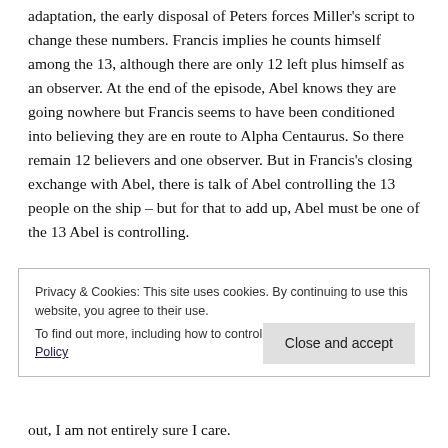adaptation, the early disposal of Peters forces Miller's script to change these numbers. Francis implies he counts himself among the 13, although there are only 12 left plus himself as an observer. At the end of the episode, Abel knows they are going nowhere but Francis seems to have been conditioned into believing they are en route to Alpha Centaurus. So there remain 12 believers and one observer. But in Francis's closing exchange with Abel, there is talk of Abel controlling the 13 people on the ship – but for that to add up, Abel must be one of the 13 Abel is controlling.
Privacy & Cookies: This site uses cookies. By continuing to use this website, you agree to their use.
To find out more, including how to control cookies, see here: Cookie Policy
out, I am not entirely sure I care.